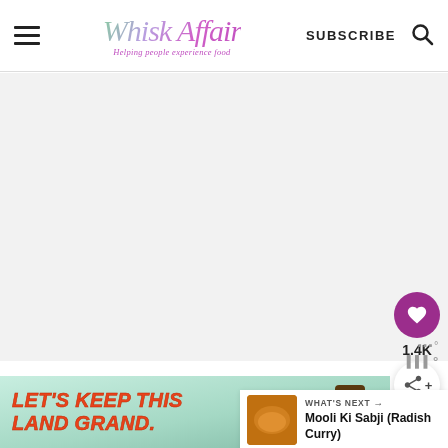Whisk Affair — Helping people experience food | SUBSCRIBE
[Figure (screenshot): Main content area — light gray background, empty]
[Figure (infographic): Floating action buttons: heart icon with count 1.4K and share icon]
[Figure (infographic): What's Next panel: thumbnail of curry dish, label 'WHAT'S NEXT', title 'Mooli Ki Sabji (Radish Curry)']
[Figure (photo): Ad banner: LET'S KEEP THIS LAND GRAND. with Smokey Bear illustration, green/teal background]